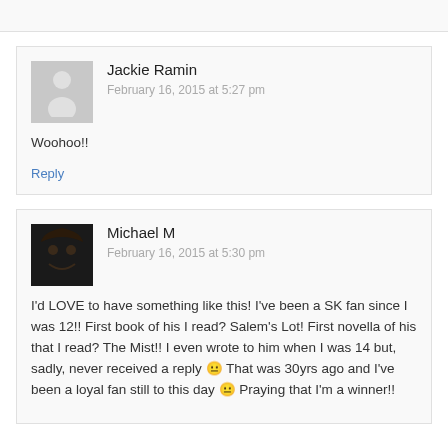Reply (partial, top of page)
Jackie Ramin
February 16, 2015 at 5:27 pm
Woohoo!!
Reply
Michael M
February 16, 2015 at 5:30 pm
I'd LOVE to have something like this! I've been a SK fan since I was 12!! First book of his I read? Salem's Lot! First novella of his that I read? The Mist!! I even wrote to him when I was 14 but, sadly, never received a reply 😐 That was 30yrs ago and I've been a loyal fan still to this day 😐 Praying that I'm a winner!!